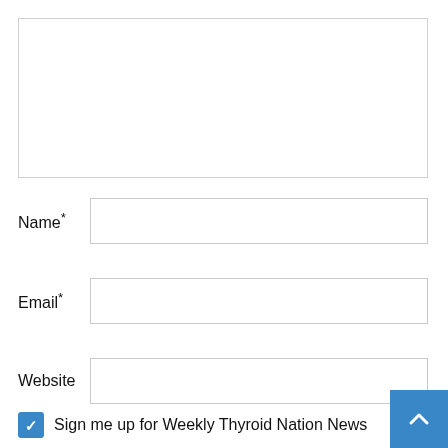[Figure (other): Empty textarea input box with light border]
Name*
[Figure (other): Text input field for Name]
Email*
[Figure (other): Text input field for Email]
Website
[Figure (other): Text input field for Website]
Sign me up for Weekly Thyroid Nation News